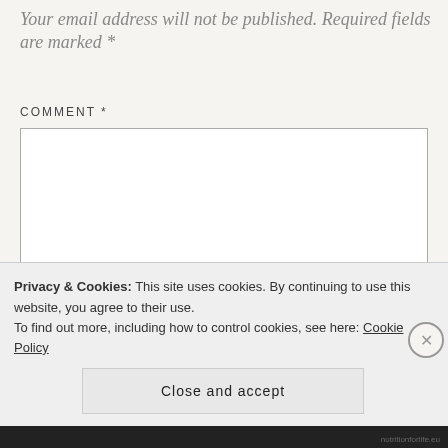Your email address will not be published. Required fields are marked *
COMMENT *
[Figure (other): Comment text area input box, empty, with resize handle at bottom right]
Privacy & Cookies: This site uses cookies. By continuing to use this website, you agree to their use.
To find out more, including how to control cookies, see here: Cookie Policy
Close and accept